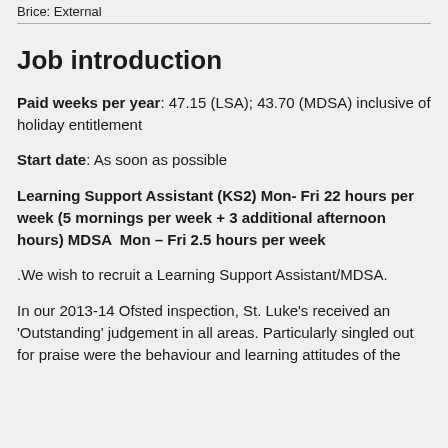Brice: External
Job introduction
Paid weeks per year: 47.15 (LSA); 43.70 (MDSA) inclusive of holiday entitlement
Start date: As soon as possible
Learning Support Assistant (KS2) Mon- Fri 22 hours per week (5 mornings per week + 3 additional afternoon hours) MDSA  Mon – Fri 2.5 hours per week
.We wish to recruit a Learning Support Assistant/MDSA.
In our 2013-14 Ofsted inspection, St. Luke's received an 'Outstanding' judgement in all areas. Particularly singled out for praise were the behaviour and learning attitudes of the